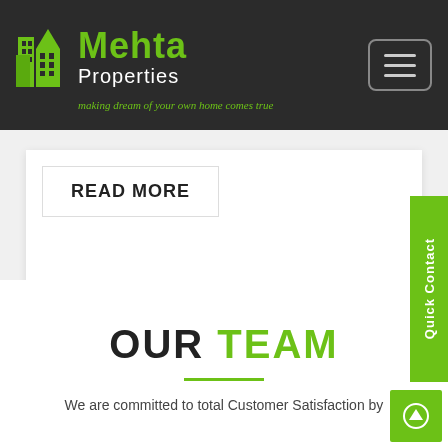[Figure (logo): Mehta Properties logo with green building icon, green 'Mehta' text, white 'Properties' text, and green italic tagline 'making dream of your own home comes true' on dark background]
READ MORE
Quick Contact
OUR TEAM
We are committed to total Customer Satisfaction by